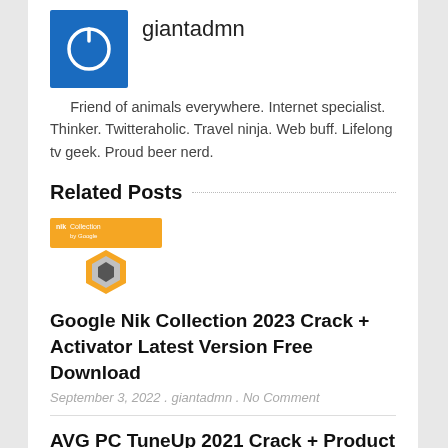[Figure (logo): Blue square icon with white power/circle symbol]
giantadmn
Friend of animals everywhere. Internet specialist. Thinker. Twitteraholic. Travel ninja. Web buff. Lifelong tv geek. Proud beer nerd.
Related Posts
[Figure (logo): Nik Collection by Google logo with orange hexagon shape]
Google Nik Collection 2023 Crack + Activator Latest Version Free Download
September 3, 2022 . giantadmn . No Comment
AVG PC TuneUp 2021 Crack + Product Key [Latest v21.2.2897]